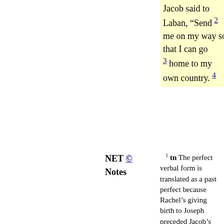Jacob said to Laban, “Send [2] me on my way so that I can go [3] home to my own country. [4]
NET © Notes
1 tn The perfect verbal form is translated as a past perfect because Rachel’s giving birth to Joseph preceded Jacob’s conversation with Laban.
2 tn The imperatival form here expresses a request.
sn For Jacob to ask to leave would mean that seven more years had passed. Thus all Jacob’s children